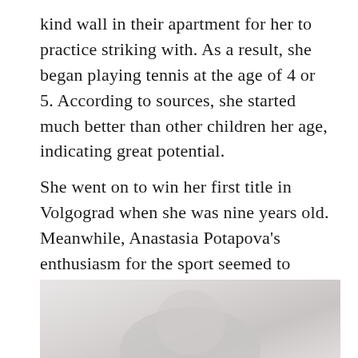kind wall in their apartment for her to practice striking with. As a result, she began playing tennis at the age of 4 or 5. According to sources, she started much better than other children her age, indicating great potential.
She went on to win her first title in Volgograd when she was nine years old. Meanwhile, Anastasia Potapova’s enthusiasm for the sport seemed to know no bounds.
[Figure (photo): A faded/light photograph showing what appears to be a person, partially visible at the bottom of the page]